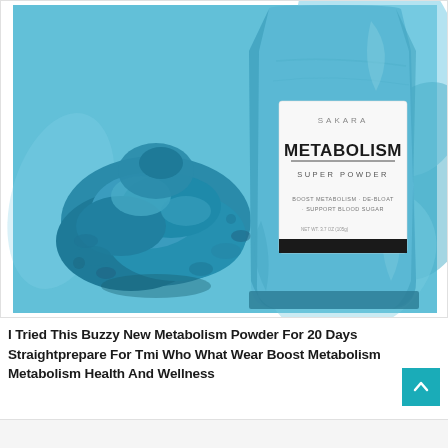[Figure (photo): Product photo showing Sakara Metabolism Super Powder bag (blue packaging) on the right side and a pile of blue/teal powder on the left side, against a light blue background.]
I Tried This Buzzy New Metabolism Powder For 20 Days Straightprepare For Tmi Who What Wear Boost Metabolism Metabolism Health And Wellness